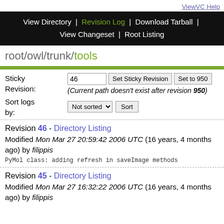ViewVC Help
View Directory | Revision Log | Download Tarball | View Changeset | Root Listing
root/owl/trunk/tools
Sticky Revision: 46 Set Sticky Revision Set to 950 (Current path doesn't exist after revision 950)
Sort logs by: Not sorted Sort
Revision 46 - Directory Listing
Modified Mon Mar 27 20:59:42 2006 UTC (16 years, 4 months ago) by filippis
PyMol class: adding refresh in saveImage methods
Revision 45 - Directory Listing
Modified Mon Mar 27 16:32:22 2006 UTC (16 years, 4 months ago) by filippis